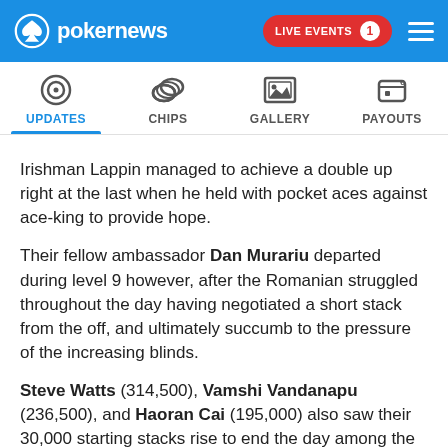pokernews | LIVE EVENTS 1
[Figure (screenshot): Navigation tab bar with icons: Updates (selected, blue underline), Chips, Gallery, Payouts]
Irishman Lappin managed to achieve a double up right at the last when he held with pocket aces against ace-king to provide hope.
Their fellow ambassador Dan Murariu departed during level 9 however, after the Romanian struggled throughout the day having negotiated a short stack from the off, and ultimately succumb to the pressure of the increasing blinds.
Steve Watts (314,500), Vamshi Vandanapu (236,500), and Haoran Cai (195,000) also saw their 30,000 starting stacks rise to end the day among the top stacks.
2017 Unibet Open Bucharest High Roller champion Olvedo Heinze was among the chip leaders at the dinner break but